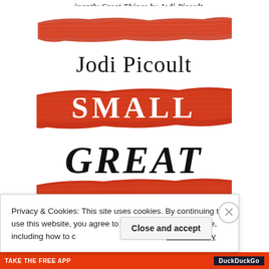...iniantly Great Things by Jodi Picoult
[Figure (illustration): Book cover of 'Small Great Things' by Jodi Picoult. Shows the author's name 'Jodi Picoult' in large serif black text at top, with three horizontal red brushstroke bands. The word 'SMALL' is written in white serif capitals on the middle red band. The word 'GREAT' appears in large black handwritten/brushstroke capitals below. Additional red brushstroke at bottom.]
Privacy & Cookies: This site uses cookies. By continuing to use this website, you agree to their use. To find out more, including how to control cookies, see here: Cookie Policy
[Figure (screenshot): Bottom browser bar showing orange/red app download strip and dark DuckDuckGo browser interface bar at very bottom]